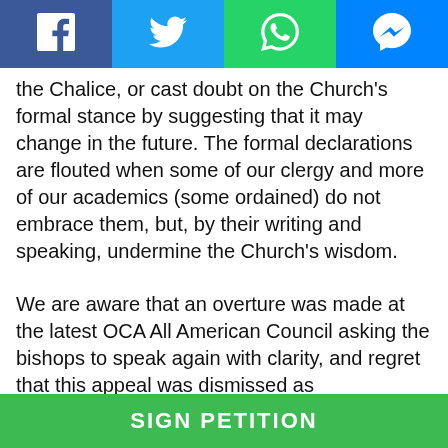[Figure (other): Social media share bar with Facebook, Twitter, WhatsApp, and Messenger buttons]
the Chalice, or cast doubt on the Church’s formal stance by suggesting that it may change in the future. The formal declarations are flouted when some of our clergy and more of our academics (some ordained) do not embrace them, but, by their writing and speaking, undermine the Church’s wisdom.
We are aware that an overture was made at the latest OCA All American Council asking the bishops to speak again with clarity, and regret that this appeal was dismissed as unnecessary or misplaced. Indeed, it is our sense that laity and clergy in all jurisdictions are in need of further clear teaching and direction from the bishops. We
SIGN PETITION